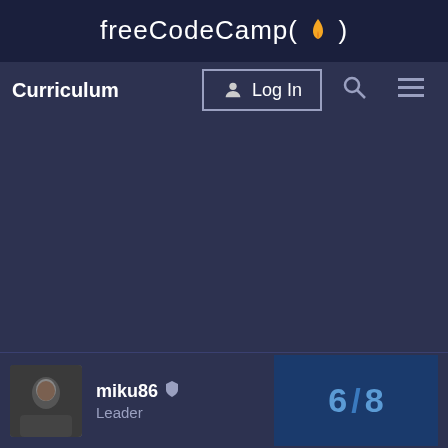freeCodeCamp(🔥)
Curriculum
[Figure (screenshot): Log In button with user icon, search icon, and hamburger menu icon in navigation bar]
[Figure (photo): User avatar photo of miku86]
miku86 🛡 Leader
6/8